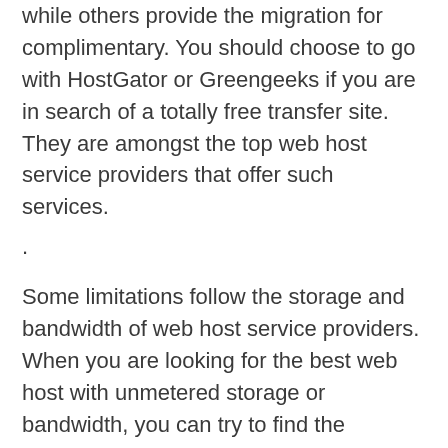while others provide the migration for complimentary. You should choose to go with HostGator or Greengeeks if you are in search of a totally free transfer site. They are amongst the top web host service providers that offer such services.
.
Some limitations follow the storage and bandwidth of web host service providers. When you are looking for the best web host with unmetered storage or bandwidth, you can try to find the Hostgator, SiteGround, Bluehost, and the GreenGeeks. If you are looking for a more affordable model, then you ought to go for the GoDaddy, which has a 100GB storage